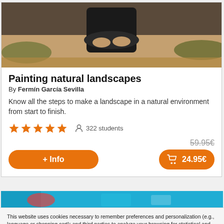[Figure (photo): Hero photo of a person in dark clothing outdoors in a natural landscape with dirt and scrub vegetation]
Painting natural landscapes
By Fermín García Sevilla
Know all the steps to make a landscape in a natural environment from start to finish.
★★★★★  322 students
59.95€ (strikethrough)  + Info button  24.95€ buy button
[Figure (screenshot): Partial view of another course card with blue background]
This website uses cookies necessary to remember preferences and personalization (e.g., language or shopping cart); and third parties to analyze your browsing for statistical and advertising purposes (Analytics and Facebook). We do not use the latter unless you give us your consent. By clicking on 'Accept' you continue with the standard cookie settings. By clicking on 'Reject' you will disable all cookies that are not strictly necessary for proper navigation. By clicking on 'Settings' you will get a description of the type of cookies and enable or disable them in a personalized way.
Accept  Reject  Settings